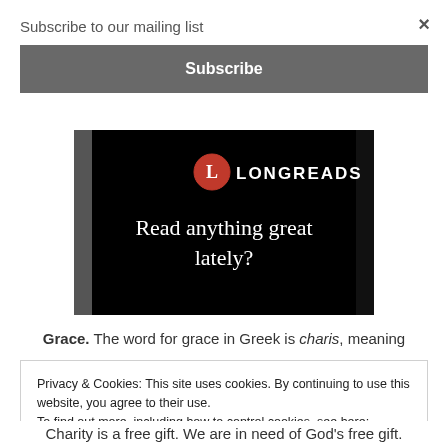Subscribe to our mailing list
×
Subscribe
[Figure (illustration): Longreads promotional image: black background with Longreads logo (red circle with L) and text 'Read anything great lately?']
Grace. The word for grace in Greek is charis, meaning
Privacy & Cookies: This site uses cookies. By continuing to use this website, you agree to their use.
To find out more, including how to control cookies, see here: Cookie Policy
Close and accept
Charity is a free gift. We are in need of God's free gift.